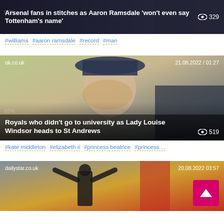[Figure (screenshot): Article card with dark overlay showing headline 'Arsenal fans in stitches as Aaron Ramsdale won't even say Tottenham's name' with view count 329]
#williams #aaron ramsdale #record #man
[Figure (photo): Article card from ok.co.uk dated 21.08.2022 / 01:27 showing photo of Lady Louise Windsor smiling in a blue hat. Headline: Royals who didn't go to university as Lady Louise Windsor heads to St Andrews. View count: 519]
#kate middleton #elizabeth ii #princess beatrice #princess ...
[Figure (photo): Article card from dailystar.co.uk dated 20.08.2022 03:57 showing a person with arms raised in a crowd. Back to top button (pink/magenta) visible.]